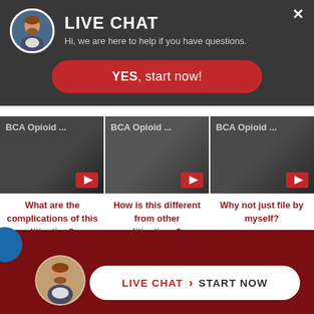[Figure (screenshot): Live chat overlay popup with dark background showing a man's avatar photo, LIVE CHAT title, subtitle text, and a red YES start now button]
LIVE CHAT
Hi, we are here to help if you have questions.
YES, start now!
[Figure (screenshot): Three video thumbnails labeled BCA Opioid ... with dark backgrounds and red icons]
What are the complications of this litigation?
How is this different from other litigations?
Why not just file by myself?
[Figure (screenshot): Bottom dark red bar with attorney avatar and LIVE CHAT START NOW button]